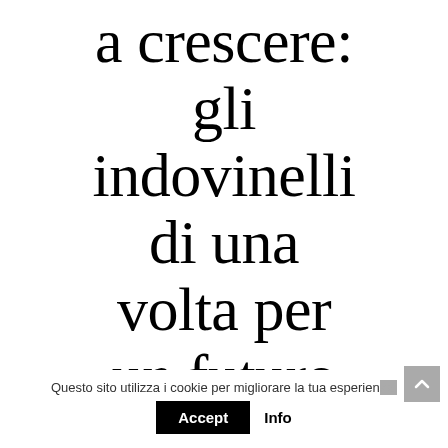a crescere: gli indovinelli di una volta per un futuro
Questo sito utilizza i cookie per migliorare la tua esperienza.